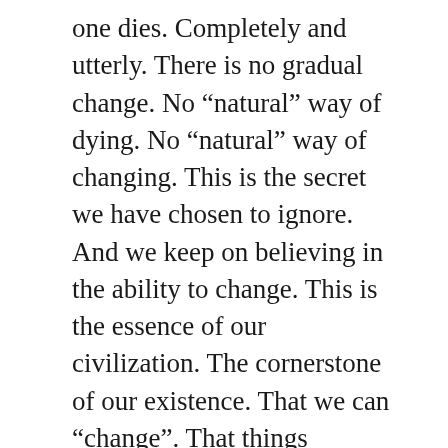one dies. Completely and utterly. There is no gradual change. No “natural” way of dying. No “natural” way of changing. This is the secret we have chosen to ignore. And we keep on believing in the ability to change. This is the essence of our civilization. The cornerstone of our existence. That we can “change”. That things “change”.
Imagine a cosmos where everything is stable.
A perfect cosmos.
We hate this cosmos. For it nullifies existence.
Free beings we are.